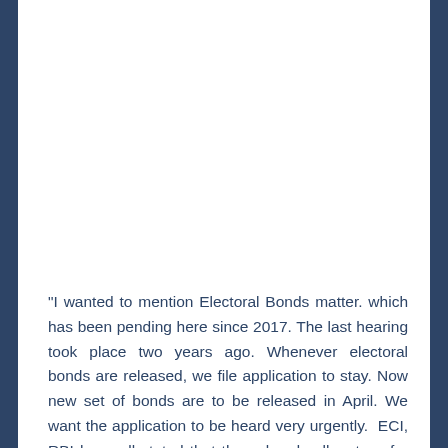"I wanted to mention Electoral Bonds matter. which has been pending here since 2017. The last hearing took place two years ago. Whenever electoral bonds are released, we file application to stay. Now new set of bonds are to be released in April. We want the application to be heard very urgently.  ECI, RBI have all stated that these bonds allow transfer of illicit black money from shell companies", Bhushan told the CJI.